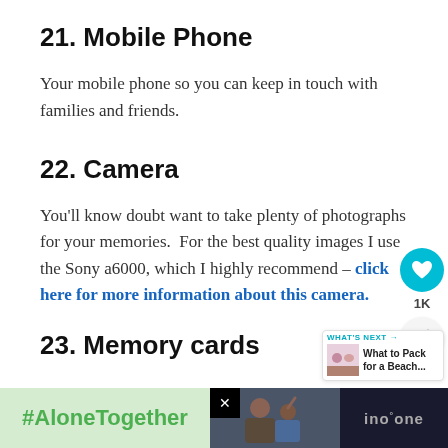21. Mobile Phone
Your mobile phone so you can keep in touch with families and friends.
22. Camera
You'll know doubt want to take plenty of photographs for your memories. For the best quality images I use the Sony a6000, which I highly recommend – click here for more information about this camera.
23. Memory cards
[Figure (infographic): Social sharing widget with teal heart button showing 1K likes and a share button below]
[Figure (infographic): What's Next widget showing 'What to Pack for a Beach...' with a small photo]
[Figure (infographic): Advertisement banner showing #AloneTogether with a photo of two people and a logo on the right]